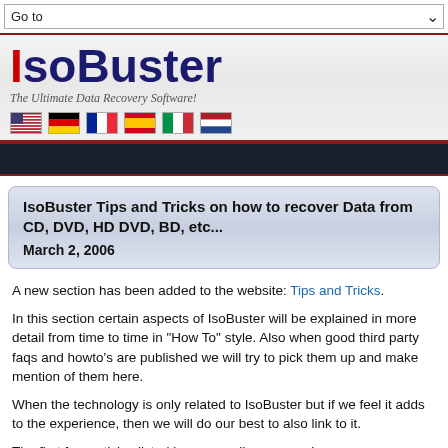Go to
[Figure (logo): IsoBuster logo with red I and dark blue text, tagline 'The Ultimate Data Recovery Software!' and six national flags]
IsoBuster Tips and Tricks on how to recover Data from CD, DVD, HD DVD, BD, etc...
March 2, 2006
A new section has been added to the website: Tips and Tricks.
In this section certain aspects of IsoBuster will be explained in more detail from time to time in "How To" style. Also when good third party faqs and howto's are published we will try to pick them up and make mention of them here.
When the technology is only related to IsoBuster but if we feel it adds to the experience, then we will do our best to also link to it.
The first four articles listed here as well, as example:
This article covers the different way to recover data from...